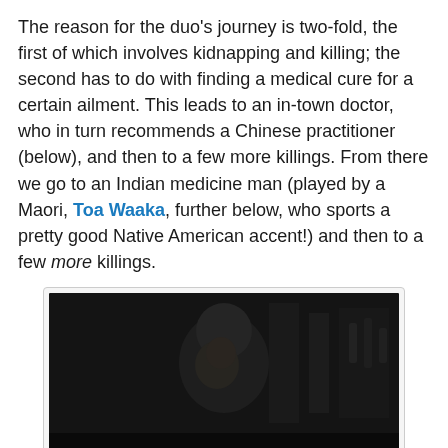The reason for the duo's journey is two-fold, the first of which involves kidnapping and killing; the second has to do with finding a medical cure for a certain ailment. This leads to an in-town doctor, who in turn recommends a Chinese practitioner (below), and then to a few more killings. From there we go to an Indian medicine man (played by a Maori, Toa Waaka, further below, who sports a pretty good Native American accent!) and then to a few more killings.
[Figure (photo): Dark film still showing a person in low lighting, possibly inside a building with shelves or bottles visible in the background.]
The violence is handled quite well. It always makes sense, is never gratuitous, and is sometimes even used for surprising humor (that works). But it also works as a character-builder for The Man. It's part of what he's about, and while it began as our young woman's undoing, it is also her salvation. Our poor guy takes his share of arrows and bullets but never never loses his credibility. And while the movie goes where